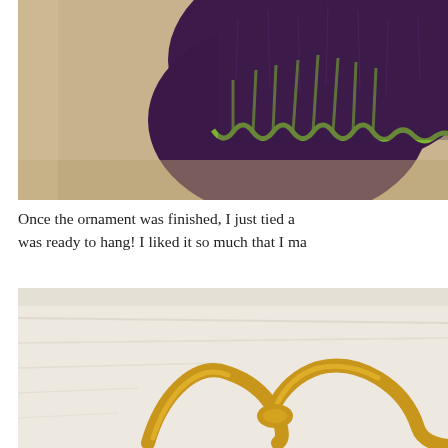[Figure (photo): Close-up photo of a dark purple felted ornament with bright green yarn stitching along the edges, on a light beige/tan background.]
Once the ornament was finished, I just tied a was ready to hang! I liked it so much that I ma
[Figure (photo): Photo of a gold/golden satin ribbon curled on a white fabric surface.]